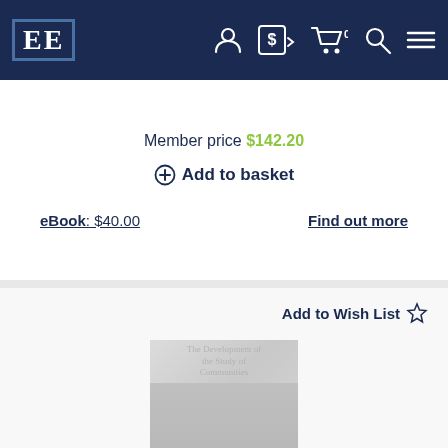[Figure (screenshot): Website navigation bar with EE logo, user account icon, currency selector showing dollar sign, shopping cart with 0 items, search icon, and hamburger menu icon on dark navy background]
Member price $142.20
+ Add to basket
eBook: $40.00
Find out more
Add to Wish List ☆
[Figure (photo): Faded/loading book cover image with partial text visible]